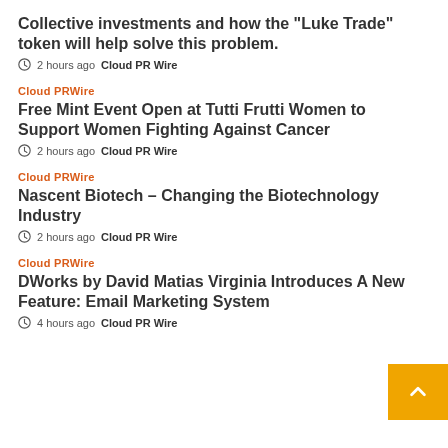Collective investments and how the “Luke Trade” token will help solve this problem.
2 hours ago  Cloud PR Wire
Cloud PRWire
Free Mint Event Open at Tutti Frutti Women to Support Women Fighting Against Cancer
2 hours ago  Cloud PR Wire
Cloud PRWire
Nascent Biotech – Changing the Biotechnology Industry
2 hours ago  Cloud PR Wire
Cloud PRWire
DWorks by David Matias Virginia Introduces A New Feature: Email Marketing System
4 hours ago  Cloud PR Wire